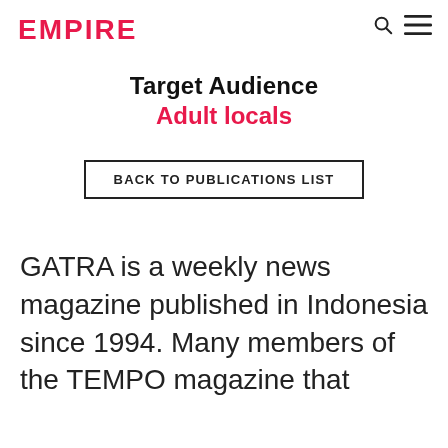EMPIRE
Target Audience
Adult locals
BACK TO PUBLICATIONS LIST
GATRA is a weekly news magazine published in Indonesia since 1994. Many members of the TEMPO magazine that